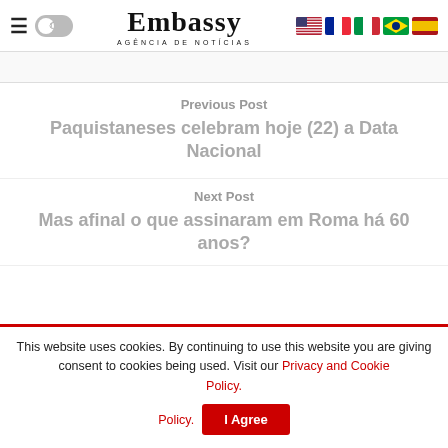[Figure (logo): Embassy Agência de Notícias logo with hamburger menu, dark mode toggle, and language flag icons (US, France, Italy, Brazil, Spain)]
Previous Post
Paquistaneses celebram hoje (22) a Data Nacional
Next Post
Mas afinal o que assinaram em Roma há 60 anos?
This website uses cookies. By continuing to use this website you are giving consent to cookies being used. Visit our Privacy and Cookie Policy.